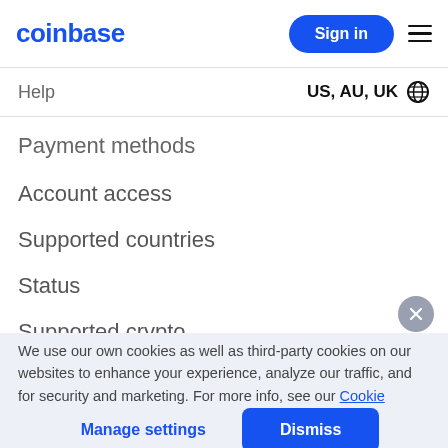coinbase | Sign in
Help  US, AU, UK
Payment methods
Account access
Supported countries
Status
Supported crypto
We use our own cookies as well as third-party cookies on our websites to enhance your experience, analyze our traffic, and for security and marketing. For more info, see our Cookie Policy.
Manage settings
Dismiss